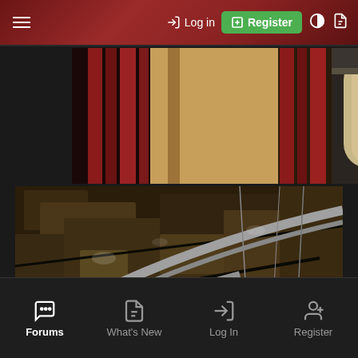≡  → Log in  ⊞ Register  ◑  ❐
[Figure (photo): Interior photo showing red curtains and arched windows with light coming through, architectural detail of what appears to be a theater or grand hall]
[Figure (photo): Dark photo showing weathered stone or masonry ceiling with diagonal architectural elements, arches, and hanging fixtures in low light]
Forums  What's New  Log In  Register